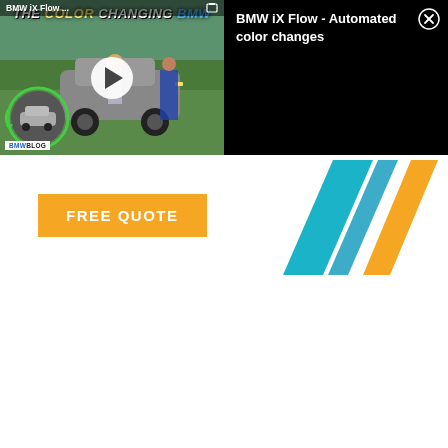[Figure (screenshot): Video thumbnail showing BMW iX Flow color-changing car with two people standing next to it, BMWBLOG logo, play button overlay, and title 'THE COLOR CHANGING BMW' in stylized text]
BMW iX Flow - Automated color changes
[Figure (logo): Advertisement strip with orange FREE QUOTE button and colorful diagonal stripe logo (teal, white, orange stripes)]